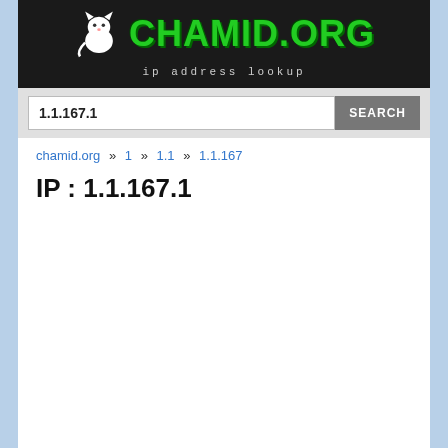[Figure (screenshot): chamid.org website header with green pixel-style logo text and cat icon, showing 'ip address lookup' subtitle on dark background]
1.1.167.1
chamid.org » 1 » 1.1 » 1.1.167
IP : 1.1.167.1